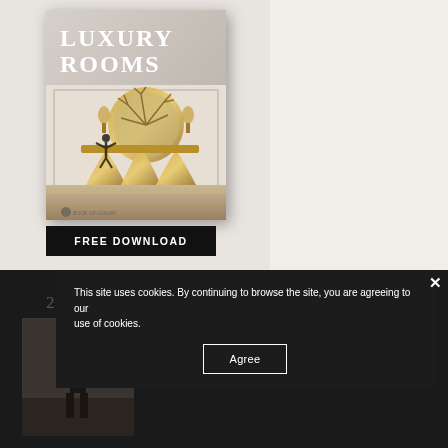[Figure (photo): Book cover of 'Luxury Rooms' showing an elegant interior room with a large golden circular mirror, ornate golden sculptural furniture/table, and a dancer statue. The cover has white serif text reading LUXURY ROOMS on a light gray background.]
FREE DOWNLOAD
A SELECTION OF
200
[Figure (photo): Small thumbnail of an interior room photograph visible in the bottom-left corner of the dark section.]
This site uses cookies. By continuing to browse the site, you are agreeing to our use of cookies.
Agree